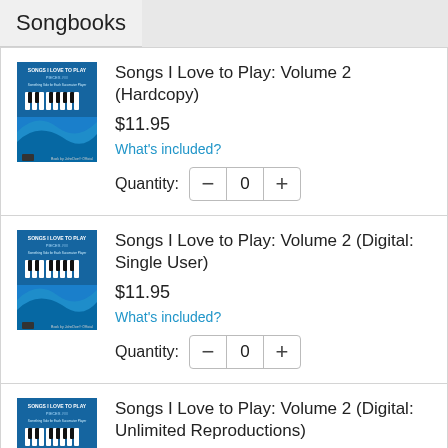Songbooks
Songs I Love to Play: Volume 2 (Hardcopy)
$11.95
What's included?
Quantity: 0
Songs I Love to Play: Volume 2 (Digital: Single User)
$11.95
What's included?
Quantity: 0
Songs I Love to Play: Volume 2 (Digital: Unlimited Reproductions)
$199.99